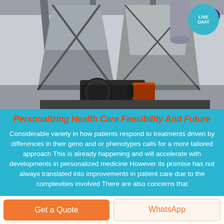[Figure (photo): Industrial machinery photo showing large metal hoppers/silos and a motor/blower unit in a factory or plant setting. Dark metallic equipment with orange motor visible at bottom center.]
Personalizing Health Care Feasibility And Future
Considerable variety in how patients respond to treatments driven by differences in their geno and or phenotypes calls for a more tailored approach This is already happening and will accelerate with developments in personalized medicine However its promise has not always translated into improvements in patient care due to the complexities involved There are also concerns that
Get a Quote
WhatsApp